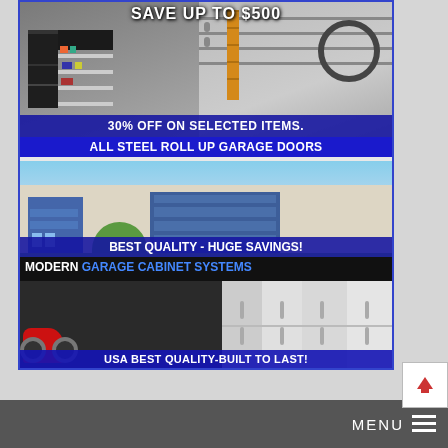[Figure (advertisement): Garage products advertisement banner. Top section shows garage organization/storage with text 'SAVE UP TO $500' and '30% OFF ON SELECTED ITEMS'. Middle section shows modern house with steel roll-up garage doors and text 'ALL STEEL ROLL UP GARAGE DOORS' and 'BEST QUALITY - HUGE SAVINGS!'. Bottom section shows modern garage cabinet systems with motorcycle and white cabinets, text 'MODERN GARAGE CABINET SYSTEMS' and 'USA BEST QUALITY-BUILT TO LAST!']
[Figure (screenshot): Navigation bar at the bottom with gray background showing 'MENU' text and hamburger icon on the right side, and a scroll-to-top button icon.]